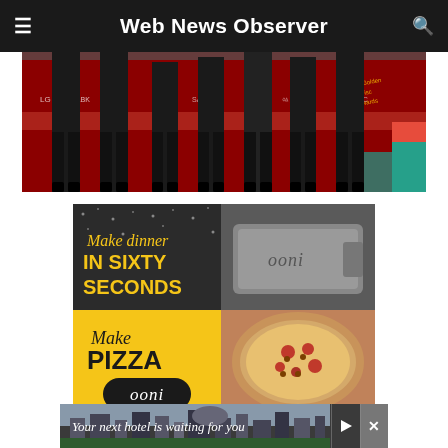Web News Observer
[Figure (photo): Group of people dressed in black suits standing on a red carpet background with sponsor logos including Golden Disc Awards, LG, Samsung, U+. Only lower bodies visible.]
[Figure (photo): Ooni pizza oven advertisement. Top-left dark panel: 'Make dinner IN SIXTY SECONDS' in yellow text. Bottom-left yellow panel: 'Make PIZZA' with Ooni logo. Right side shows Ooni pizza oven and a pizza with toppings.]
[Figure (photo): Hotel advertisement banner at bottom: 'Your next hotel is waiting for you' with a city/hotel skyline background image, play and close icons on the right.]